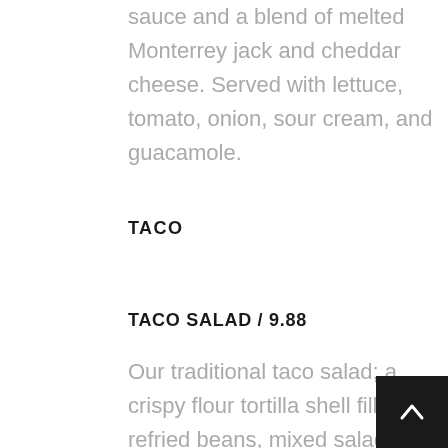sauce and a blend of melted Monterrey jack and cheddar cheese. Served with lettuce, tomato, onion, sour cream, and guacamole.
TACO
TACO SALAD / 9.88
Our traditional taco salad; a crispy flour tortilla shell filled with refried beans, mixed salad greens, diced